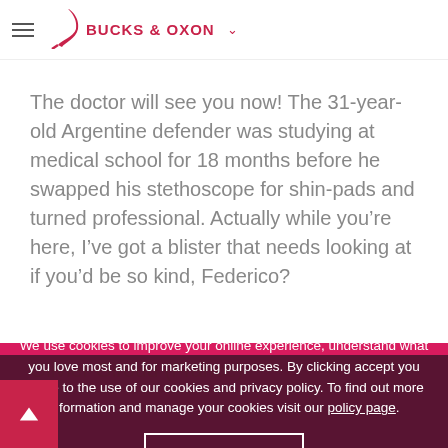BUCKS & OXON
The doctor will see you now! The 31-year-old Argentine defender was studying at medical school for 18 months before he swapped his stethoscope for shin-pads and turned professional. Actually while you’re here, I’ve got a blister that needs looking at if you’d be so kind, Federico?
Olivier Giroud (France)
We use cookies to improve your online experience, understand what you love most and for marketing purposes. By clicking accept you agree to the use of our cookies and privacy policy. To find out more information and manage your cookies visit our policy page.
I accept!